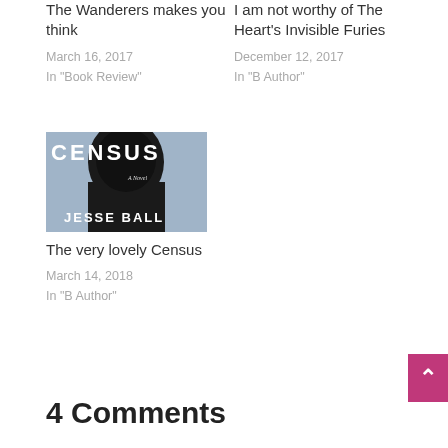The Wanderers makes you think
March 16, 2017
In "Book Review"
I am not worthy of The Heart's Invisible Furies
December 12, 2017
In "B Author"
[Figure (illustration): Book cover of 'Census: A Novel' by Jesse Ball, showing a silhouette of a person against a blue-grey background with large white text.]
The very lovely Census
March 14, 2018
In "B Author"
4 Comments